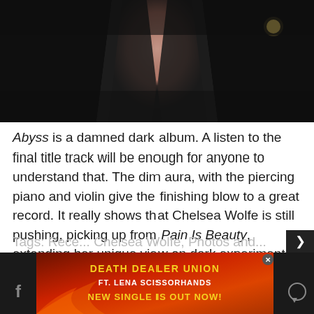[Figure (photo): Dark photograph showing a person in dark clothing with exposed midriff, tattoos visible, against a dark background with a moon or light source visible in upper right]
Abyss is a damned dark album. A listen to the final title track will be enough for anyone to understand that. The dim aura, with the piercing piano and violin give the finishing blow to a great record. It really shows that Chelsea Wolfe is still pushing, picking up from Pain Is Beauty, extending her unique view on dark experimental music, which shines (for lack of a better word) in Abyss. So consider yourself warned! And remember: “And when you gaze long into an Abyss the Abyss also gazes into you”
[Figure (screenshot): Advertisement banner: DEATH DEALER UNION FT. LENA SCISSORHANDS NEW SINGLE IS OUT NOW! with orange/red flame background]